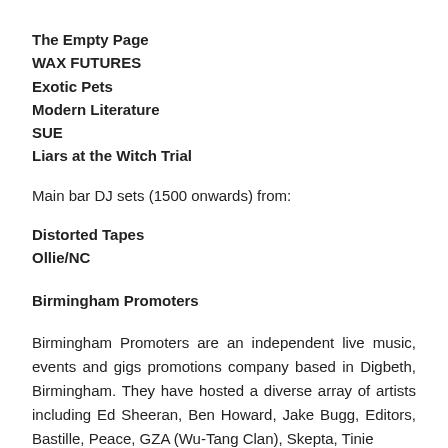The Empty Page
WAX FUTURES
Exotic Pets
Modern Literature
SUE
Liars at the Witch Trial
Main bar DJ sets (1500 onwards) from:
Distorted Tapes
Ollie/NC
Birmingham Promoters
Birmingham Promoters are an independent live music, events and gigs promotions company based in Digbeth, Birmingham. They have hosted a diverse array of artists including Ed Sheeran, Ben Howard, Jake Bugg, Editors, Bastille, Peace, GZA (Wu-Tang Clan), Skepta, Tinie